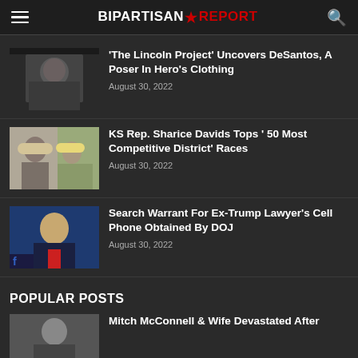BIPARTISAN REPORT
'The Lincoln Project' Uncovers DeSantos, A Poser In Hero's Clothing
August 30, 2022
KS Rep. Sharice Davids Tops ' 50 Most Competitive District' Races
August 30, 2022
Search Warrant For Ex-Trump Lawyer's Cell Phone Obtained By DOJ
August 30, 2022
POPULAR POSTS
Mitch McConnell & Wife Devastated After